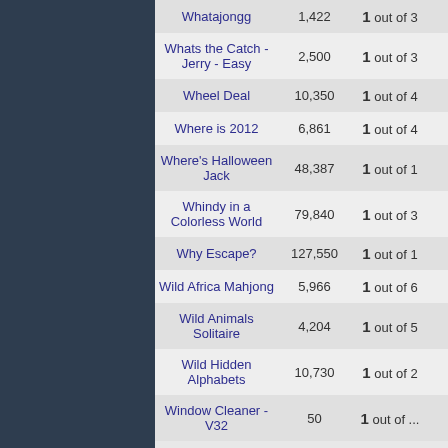| Game Name | Plays | Rating | Players |  |
| --- | --- | --- | --- | --- |
| Whatajongg | 1,422 | 1 out of 3 | 195 | 1 |
| Whats the Catch - Jerry - Easy | 2,500 | 1 out of 3 | 224 |  |
| Wheel Deal | 10,350 | 1 out of 4 | 393 | 1 |
| Where is 2012 | 6,861 | 1 out of 4 | 424 | 9 |
| Where's Halloween Jack | 48,387 | 1 out of 1 | 254 | 4 |
| Whindy in a Colorless World | 79,840 | 1 out of 3 | 116 | 1 |
| Why Escape? | 127,550 | 1 out of 1 | 416 | 6 |
| Wild Africa Mahjong | 5,966 | 1 out of 6 | 298 |  |
| Wild Animals Solitaire | 4,204 | 1 out of 5 | 270 |  |
| Wild Hidden Alphabets | 10,730 | 1 out of 2 | 166 |  |
| Window Cleaner - V32 | 50 | 1 out of ... | 620 |  |